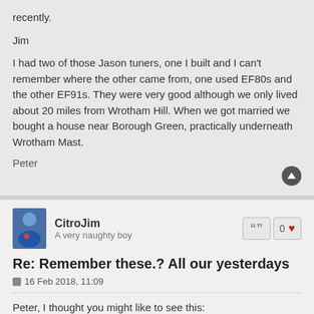recently.
Jim
I had two of those Jason tuners, one I built and I can't remember where the other came from, one used EF80s and the other EF91s. They were very good although we only lived about 20 miles from Wrotham Hill. When we got married we bought a house near Borough Green, practically underneath Wrotham Mast.
Peter
CitroJim
A very naughty boy
Re: Remember these.? All our yesterdays
16 Feb 2018, 11:09
Peter, I thought you might like to see this: